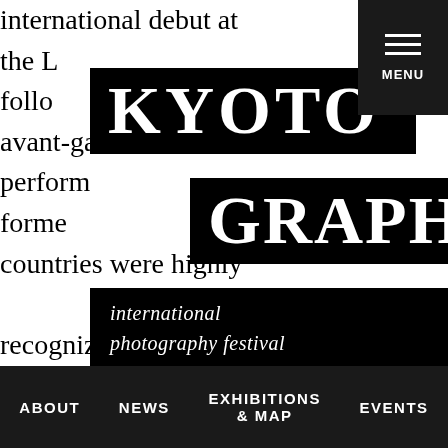international debut at the L follow avant-gard perform forme countries were highly recognized among cultural and intellectual pioneers of the time. Tanaka moved to the countryside in 1985
[Figure (logo): KYOTO GRAPHIE international photography festival logo — black rectangles with white serif text]
MENU
ABOUT   NEWS   EXHIBITIONS & MAP   EVENTS